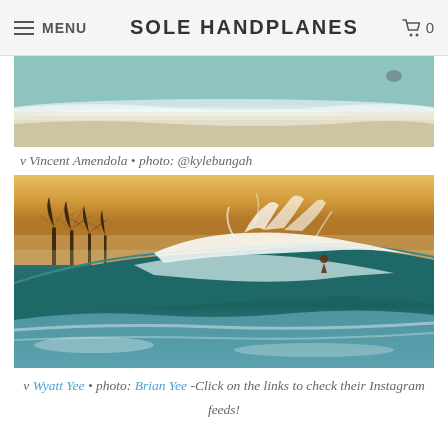MENU  SOLE HANDPLANES  0
[Figure (photo): Top portion of a beach scene showing waves washing on shore with sandy beach, turquoise water, partially cropped at top]
v Vincent Amendola • photo: @kylebungah
[Figure (photo): Surfer riding a large wave at sunset/golden hour with palm trees silhouetted in background, dramatic wave spray, warm golden sky]
v Wyatt Yee • photo: Brian Yee  -Click on the links to check their Instagram feeds!
[Figure (photo): Bottom edge of another ocean/beach photo, partially visible, turquoise water]